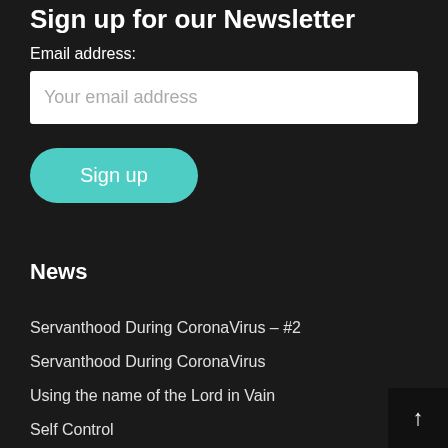Sign up for our Newsletter
Email address:
Your email address
Sign up
News
Servanthood During CoronaVirus – #2
Servanthood During CoronaVirus
Using the name of the Lord in Vain
Self Control